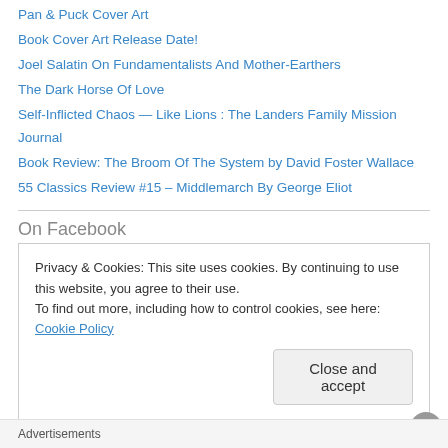Pan & Puck Cover Art
Book Cover Art Release Date!
Joel Salatin On Fundamentalists And Mother-Earthers
The Dark Horse Of Love
Self-Inflicted Chaos — Like Lions : The Landers Family Mission Journal
Book Review: The Broom Of The System by David Foster Wallace
55 Classics Review #15 – Middlemarch By George Eliot
On Facebook
Privacy & Cookies: This site uses cookies. By continuing to use this website, you agree to their use.
To find out more, including how to control cookies, see here: Cookie Policy
Close and accept
Advertisements